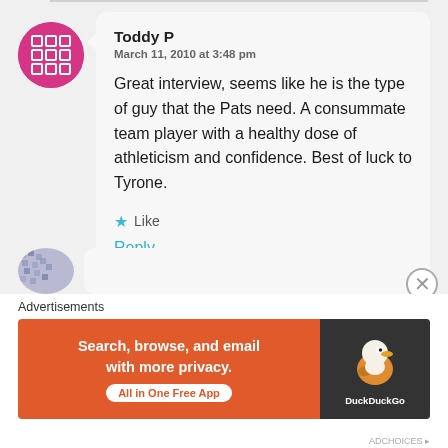Toddy P
March 11, 2010 at 3:48 pm

Great interview, seems like he is the type of guy that the Pats need. A consummate team player with a healthy dose of athleticism and confidence. Best of luck to Tyrone.
★ Like
Reply
[Figure (infographic): DuckDuckGo advertisement banner: orange background with text 'Search, browse, and email with more privacy.' and 'All in One Free App' button, beside a dark panel with DuckDuckGo duck logo]
Advertisements